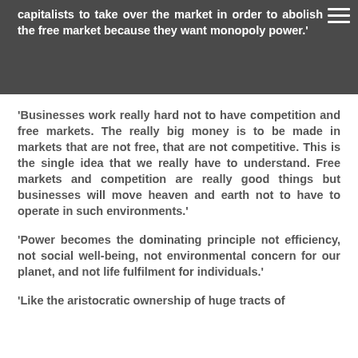capitalists to take over the market in order to abolish the free market because they want monopoly power.'
'Businesses work really hard not to have competition and free markets. The really big money is to be made in markets that are not free, that are not competitive. This is the single idea that we really have to understand. Free markets and competition are really good things but businesses will move heaven and earth not to have to operate in such environments.'
'Power becomes the dominating principle not efficiency, not social well-being, not environmental concern for our planet, and not life fulfilment for individuals.'
'Like the aristocratic ownership of huge tracts of